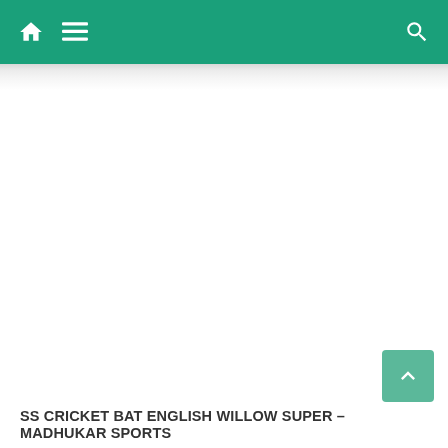Navigation bar with home, menu, and search icons
[Figure (screenshot): Large white content area below navigation bar, mostly blank white space with a light gray shadow at the top]
SS CRICKET BAT ENGLISH WILLOW SUPER – MADHUKAR SPORTS